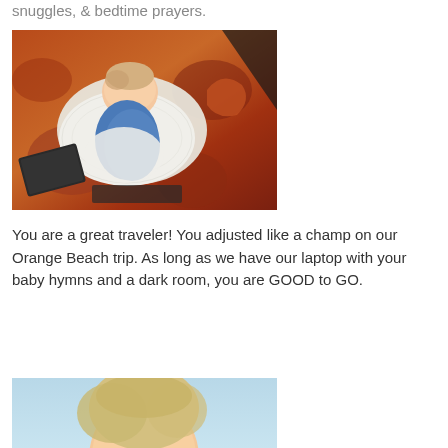snuggles, & bedtime prayers.
[Figure (photo): Baby lying on a white knit blanket on a patterned rug, wearing a blue outfit, photographed from above with warm orange and brown tones.]
You are a great traveler! You adjusted like a champ on our Orange Beach trip. As long as we have our laptop with your baby hymns and a dark room, you are GOOD to GO.
[Figure (photo): Partial photo of a young child with light hair against a light blue background, cropped at bottom of page.]